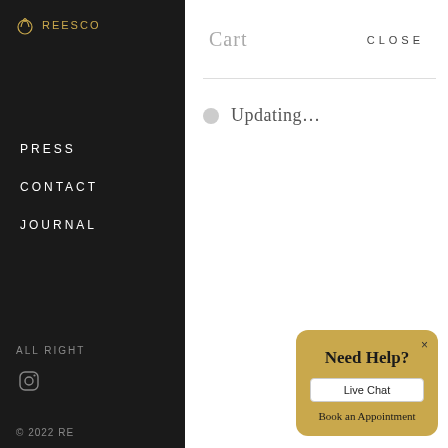REESCO (logo and brand name, truncated)
PRESS
CONTACT
JOURNAL
[Figure (illustration): Ring icon outline illustration in sidebar]
ALL RIGHT
[Figure (logo): Instagram icon in sidebar]
© 2022 RE
Cart
CLOSE
Updating…
Need Help?
Live Chat
Book an Appointment